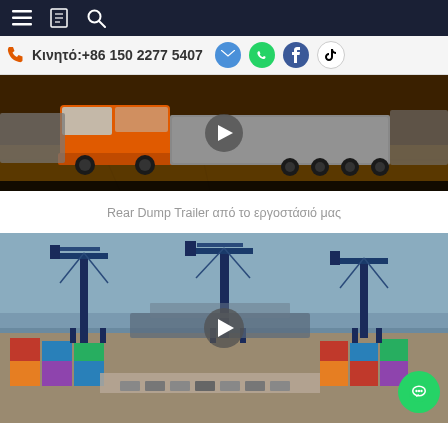Navigation bar with menu, bookmark, and search icons
Κινητό:+86 150 2277 5407
[Figure (screenshot): Orange semi-truck with trailers parked in a yard, video thumbnail with play button]
Rear Dump Trailer από το εργοστάσιό μας
[Figure (screenshot): Port/harbor scene with blue cranes and shipping containers, video thumbnail with play button. Green chat button in lower right corner.]